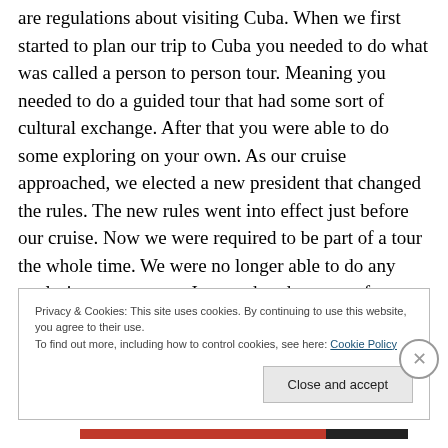are regulations about visiting Cuba. When we first started to plan our trip to Cuba you needed to do what was called a person to person tour. Meaning you needed to do a guided tour that had some sort of cultural exchange. After that you were able to do some exploring on your own. As our cruise approached, we elected a new president that changed the rules. The new rules went into effect just before our cruise. Now we were required to be part of a tour the whole time. We were no longer able to do any exploring on our own. I wanted to do a tour of Havana in one of the old classic cars. The old classic car tour from
Privacy & Cookies: This site uses cookies. By continuing to use this website, you agree to their use.
To find out more, including how to control cookies, see here: Cookie Policy
Close and accept